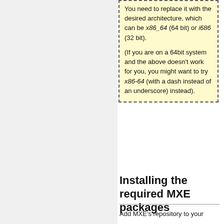You need to replace it with the desired architecture, which can be x86_64 (64 bit) or i686 (32 bit).
(If you are on a 64bit system and the above doesn't work for you, you might want to try x86-64 (with a dash instead of an underscore) instead).
Installing the required MXE packages
Add MXE's repository to your